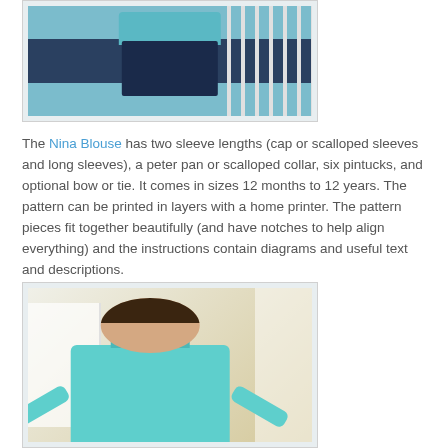[Figure (photo): Photo of a child wearing a teal/turquoise blouse with dark pants, standing near white railings]
The Nina Blouse has two sleeve lengths (cap or scalloped sleeves and long sleeves), a peter pan or scalloped collar, six pintucks, and optional bow or tie. It comes in sizes 12 months to 12 years. The pattern can be printed in layers with a home printer. The pattern pieces fit together beautifully (and have notches to help align everything) and the instructions contain diagrams and useful text and descriptions.
[Figure (photo): Photo of a smiling girl with glasses wearing a teal long-sleeve blouse, arms outstretched, with white railing in background]